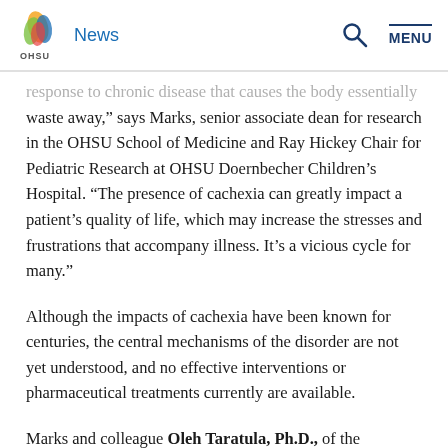OHSU News
response to chronic disease that causes the body essentially waste away,” says Marks, senior associate dean for research in the OHSU School of Medicine and Ray Hickey Chair for Pediatric Research at OHSU Doernbecher Children’s Hospital. “The presence of cachexia can greatly impact a patient’s quality of life, which may increase the stresses and frustrations that accompany illness. It’s a vicious cycle for many.”
Although the impacts of cachexia have been known for centuries, the central mechanisms of the disorder are not yet understood, and no effective interventions or pharmaceutical treatments currently are available.
Marks and colleague Oleh Taratula, Ph.D., of the OSU/OHSU College of Pharmacy, hope to change this.